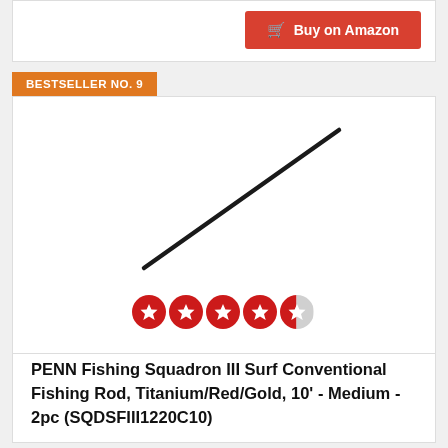[Figure (other): Buy on Amazon button (red background with shopping cart icon)]
BESTSELLER NO. 9
[Figure (photo): PENN Fishing Squadron III Surf Conventional Fishing Rod shown diagonally, dark/black colored rod on white background, with 4.5 star rating shown below]
PENN Fishing Squadron III Surf Conventional Fishing Rod, Titanium/Red/Gold, 10' - Medium - 2pc (SQDSFIII1220C10)